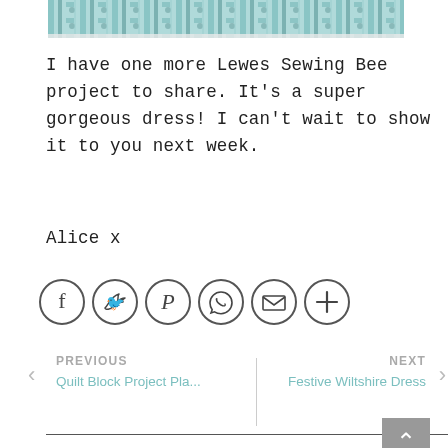[Figure (photo): Top portion of a cropped image showing a colorful fabric/textile with teal and patterned design]
I have one more Lewes Sewing Bee project to share. It's a super gorgeous dress! I can't wait to show it to you next week.
Alice x
[Figure (infographic): Row of social sharing icon buttons in circles: Facebook, Twitter, Pinterest, WhatsApp, Email, More (+)]
PREVIOUS
Quilt Block Project Pla...
NEXT
Festive Wiltshire Dress
Blogs we like